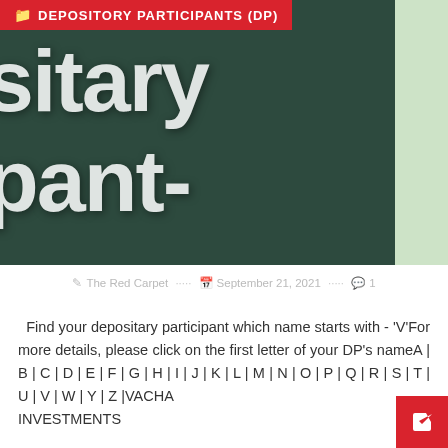[Figure (photo): Dark green background hero image with large white text showing partial words 'sitary' and 'pant-' overlaid with a red banner tag 'DEPOSITORY PARTICIPANTS (DP)']
The Red Carpet  ·  September 21, 2021  ·  1
Find your depositary participant which name starts with - 'V'For more details, please click on the first letter of your DP's nameA | B | C | D | E | F | G | H | I | J | K | L | M | N | O | P | Q | R | S | T | U | V | W | Y | Z |VACHA INVESTMENTS